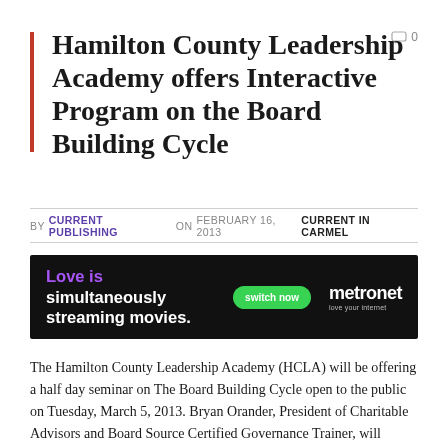Hamilton County Leadership Academy offers Interactive Program on the Board Building Cycle
BY CURRENT PUBLISHING ON FEBRUARY 16, 2013   CURRENT IN CARMEL
[Figure (other): Metronet advertisement banner: 'Love is simultaneously streaming movies.' with a green 'switch now' button and the Metronet logo with tagline 'love your internet']
The Hamilton County Leadership Academy (HCLA) will be offering a half day seminar on The Board Building Cycle open to the public on Tuesday, March 5, 2013. Bryan Orander, President of Charitable Advisors and Board Source Certified Governance Trainer, will facilitate the session.  This interactive program will